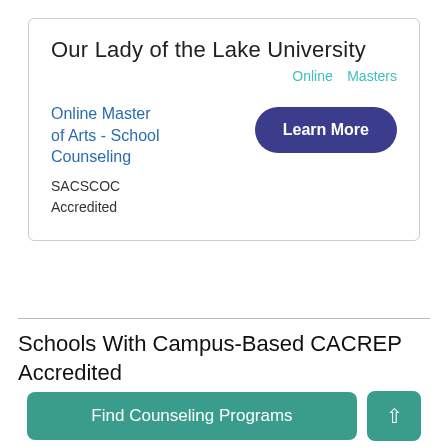Our Lady of the Lake University
Online   Masters
Online Master of Arts - School Counseling
SACSCOC Accredited
[Figure (other): Learn More button (dark blue rounded rectangle)]
Schools With Campus-Based CACREP Accredited North Carolina Counseling Degrees
[Figure (logo): CACREP logo with horizontal stripes and diagonal element]
CACREP (Council for Accreditation of Counseling
Find Counseling Programs